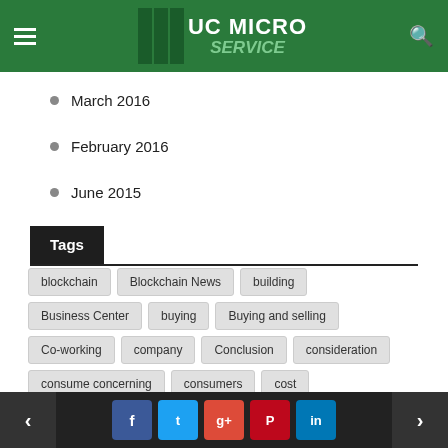UC MICRO SERVICE
March 2016
February 2016
June 2015
Tags
blockchain
Blockchain News
building
Business Center
buying
Buying and selling
Co-working
company
Conclusion
consideration
consume concerning
consumers
cost
criminal record
depends
despite
economical
electricity
essentially